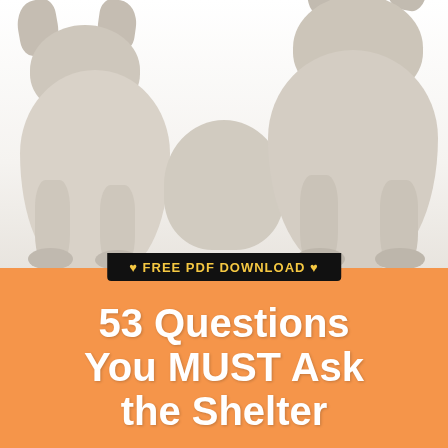[Figure (photo): Two white/cream colored puppies (likely Shar Pei or similar breed) close together against a white background. The puppies are shown from about chest down, with their paws resting on a surface. One puppy nuzzles the other.]
♥ FREE PDF DOWNLOAD ♥
53 Questions You MUST Ask the Shelter